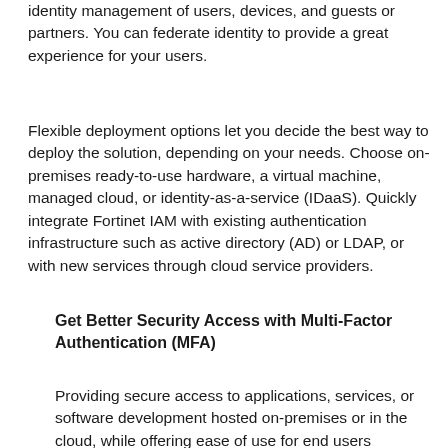identity management of users, devices, and guests or partners. You can federate identity to provide a great experience for your users.
Flexible deployment options let you decide the best way to deploy the solution, depending on your needs. Choose on-premises ready-to-use hardware, a virtual machine, managed cloud, or identity-as-a-service (IDaaS). Quickly integrate Fortinet IAM with existing authentication infrastructure such as active directory (AD) or LDAP, or with new services through cloud service providers.
Get Better Security Access with Multi-Factor Authentication (MFA)
Providing secure access to applications, services, or software development hosted on-premises or in the cloud, while offering ease of use for end users